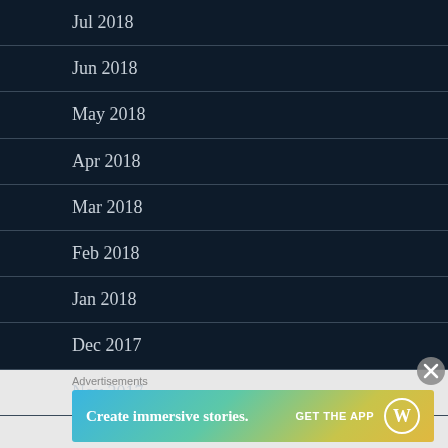Jul 2018
Jun 2018
May 2018
Apr 2018
Mar 2018
Feb 2018
Jan 2018
Dec 2017
Nov 2017
Advertisements
[Figure (screenshot): WordPress advertisement banner: 'Create immersive stories. GET THE APP' with WordPress logo, gradient background from blue to yellow-green]